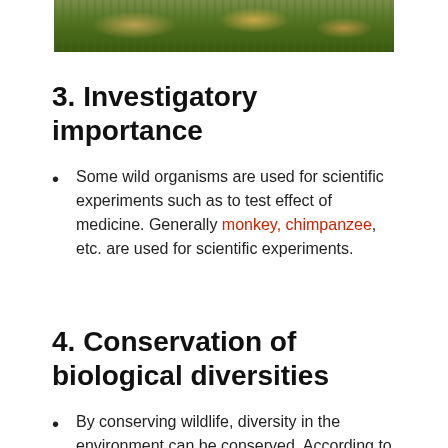[Figure (photo): Bottom portion of a photo showing animals (likely primates) on grass]
3. Investigatory importance
Some wild organisms are used for scientific experiments such as to test effect of medicine. Generally monkey, chimpanzee, etc. are used for scientific experiments.
4. Conservation of biological diversities
By conserving wildlife, diversity in the environment can be conserved. According to some scientists an ecosystem with more diversity is more stable.